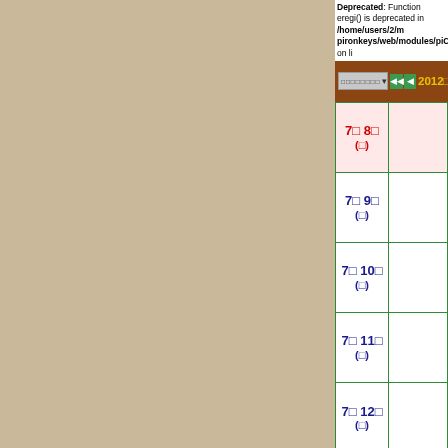Deprecated: Function eregi() is deprecated in /home/users/2/m pironkeys/web/modules/piCal/include/patTemplate.php on li
[Figure (screenshot): Web calendar interface header with dropdown, navigation buttons, and date '2012年7月 第2週']
| 7月8日（日） |  |
| 7月9日（月） |  |
| 7月10日（火） |  |
| 7月11日（水） |  |
| 7月12日（木） |  |